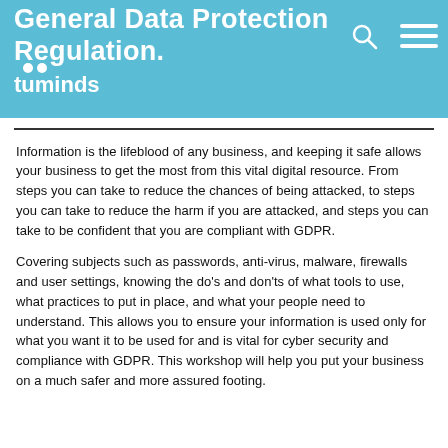General Data Protection Regulation.
tuminds
Information is the lifeblood of any business, and keeping it safe allows your business to get the most from this vital digital resource. From steps you can take to reduce the chances of being attacked, to steps you can take to reduce the harm if you are attacked, and steps you can take to be confident that you are compliant with GDPR.
Covering subjects such as passwords, anti-virus, malware, firewalls and user settings, knowing the do's and don'ts of what tools to use, what practices to put in place, and what your people need to understand. This allows you to ensure your information is used only for what you want it to be used for and is vital for cyber security and compliance with GDPR. This workshop will help you put your business on a much safer and more assured footing.